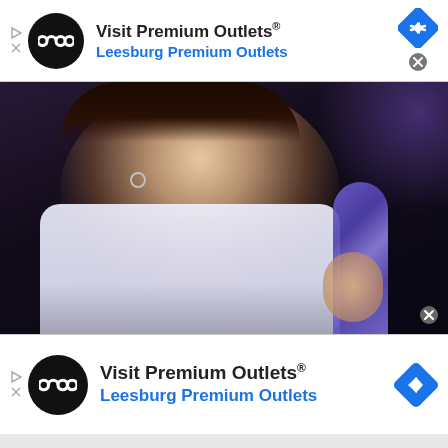[Figure (screenshot): Top advertisement banner for 'Visit Premium Outlets® Leesburg Premium Outlets' with black circular logo, navigation diamond icon, and close button]
[Figure (photo): Close-up photo of a young Asian male performer/singer in white jacket holding a purple/blue microphone, with stage lighting in the background]
[Figure (screenshot): Bottom advertisement banner for 'Visit Premium Outlets® Leesburg Premium Outlets' with black circular logo, navigation diamond icon, and close button]